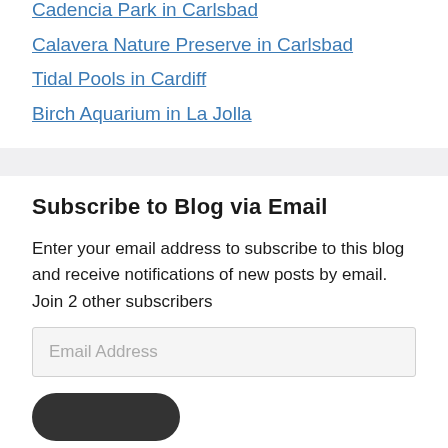Cadencia Park in Carlsbad
Calavera Nature Preserve in Carlsbad
Tidal Pools in Cardiff
Birch Aquarium in La Jolla
Subscribe to Blog via Email
Enter your email address to subscribe to this blog and receive notifications of new posts by email.
Join 2 other subscribers